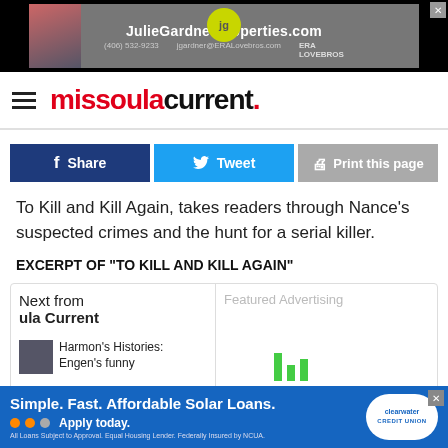[Figure (photo): Advertisement banner for JulieGardnerProperties.com with ERA Lovebros branding, phone (406) 532-9233, email jgardner@ERALovebros.com]
missoula current.
f Share   Tweet   Print this page
To Kill and Kill Again,  takes readers through Nance's suspected crimes and the hunt for a serial killer.
EXCERPT OF "TO KILL AND KILL AGAIN"
Next from
ula Current
Featured Advertising
Harmon's Histories: Engen's funny
[Figure (photo): Small thumbnail image for article about Harmon's Histories]
Simple. Fast. Affordable Solar Loans. Apply today. All Loans Subject to Approval. Equal Housing Lender. Federally Insured by NCUA. clearwater CREDIT UNION